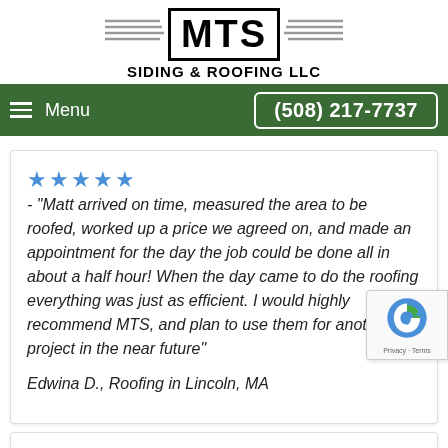[Figure (logo): MTS Siding & Roofing LLC logo with wings and bordered text box]
Menu
(508) 217-7737
★★★★★ - "Matt arrived on time, measured the area to be roofed, worked up a price we agreed on, and made an appointment for the day the job could be done all in about a half hour! When the day came to do the roofing everything was just as efficient. I would highly recommend MTS, and plan to use them for another project in the near future"
Edwina D., Roofing in Lincoln, MA
[Figure (logo): Google reCAPTCHA badge with Privacy and Terms text]